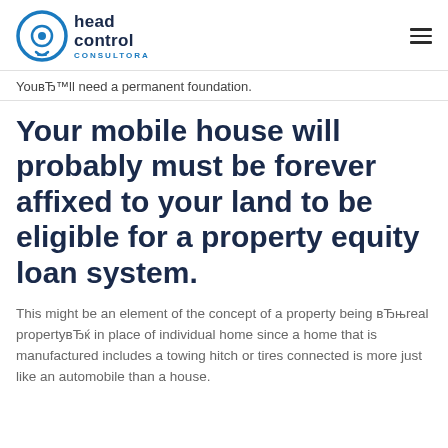head control CONSULTORA
YouвЂ™ll need a permanent foundation.
Your mobile house will probably must be forever affixed to your land to be eligible for a property equity loan system.
This might be an element of the concept of a property being вЂњreal propertyвЂќ in place of individual home since a home that is manufactured includes a towing hitch or tires connected is more just like an automobile than a house.